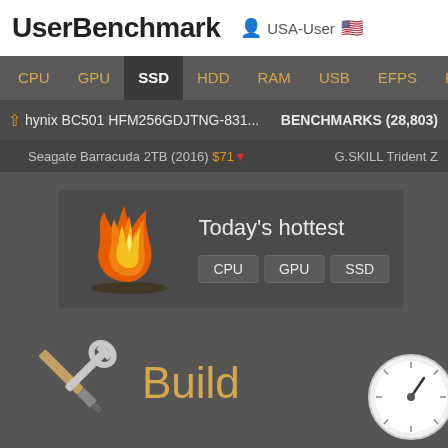UserBenchmark  USA-User
CPU  GPU  SSD  HDD  RAM  USB  EFPS  FPS  Sk
hynix BC501 HFM256GDJTNG-831...  BENCHMARKS (28,803)
Seagate Barracuda 2TB (2016) $71  G.SKILL Trident Z
Today's hottest
CPU  GPU  SSD
[Figure (illustration): Fire/flame illustration icon]
[Figure (illustration): Crossed screwdriver and wrench tools icon]
Build
[Figure (illustration): Speedometer gauge icon]